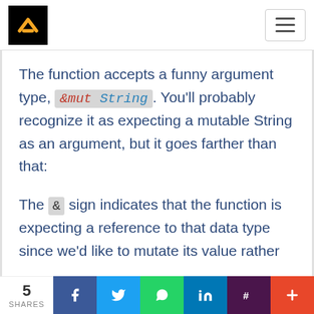B [logo] | hamburger menu
The function accepts a funny argument type, &mut String. You'll probably recognize it as expecting a mutable String as an argument, but it goes farther than that:
The & sign indicates that the function is expecting a reference to that data type since we'd like to mutate its value rather
5 SHARES | Facebook | Twitter | WhatsApp | LinkedIn | Slack | +